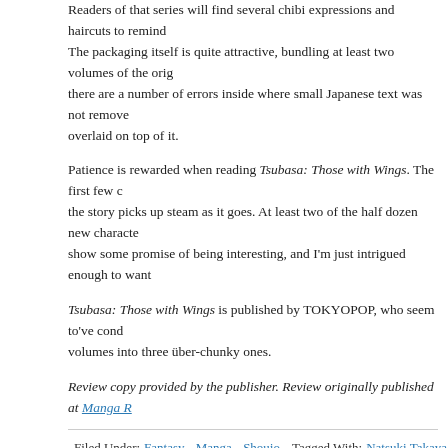Readers of that series will find several chibi expressions and haircuts to remind... The packaging itself is quite attractive, bundling at least two volumes of the orig... there are a number of errors inside where small Japanese text was not remove... overlaid on top of it.
Patience is rewarded when reading Tsubasa: Those with Wings. The first few c... the story picks up steam as it goes. At least two of the half dozen new characte... show some promise of being interesting, and I'm just intrigued enough to want...
Tsubasa: Those with Wings is published by TOKYOPOP, who seem to've cond... volumes into three über-chunky ones.
Review copy provided by the publisher. Review originally published at Manga R...
Filed Under: Fantasy, Manga, Shoujo  Tagged With: Natsuki Takaya, T...
Phantom Dream 1 by Natsuki Takaya: C
December 27, 2008 by Michelle Smith  1 Comment
As a Fruits Basket fan, whenever I was confronted with a survey on what mang... would like to see licensed, I always included the two series Natsuki Takaya wro... before her big hit—Genei Musou and Tsubasa wo Motsu Mono. And when TOKYOPOP announced it would be releasing them (as Phantom Dream and Tsubasa: Those With Wings, respectively), I was thrilled.